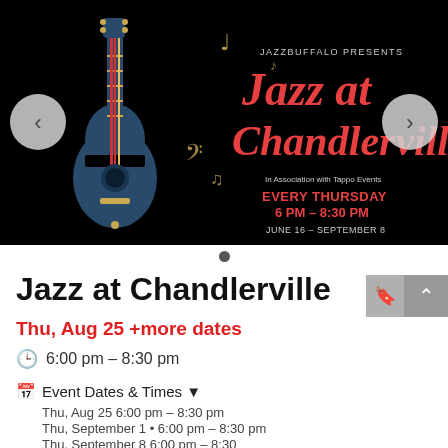[Figure (illustration): Jazz at Chandlerville event banner on black background with guitar illustration and musical notes. Text: JAZZBUFFALO PRESENTS Jazz at Chandlerville. In Association with Tappo Events. EVERY THURSDAY 6 PM - 8:30 PM. JUNE 16 - SEPTEMBER 8.]
Jazz at Chandlerville
Thu, Aug 25 +more dates
6:00 pm - 8:30 pm
Event Dates & Times
Thu, Aug 25  6:00 pm - 8:30 pm
Thu, September 1 • 6:00 pm - 8:30 pm
Thu, September 8  6:00 pm - 8:30 pm